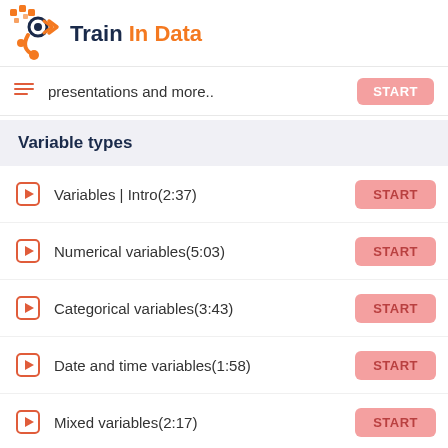[Figure (logo): Train In Data logo with orange and dark blue geometric/chain icon and text 'Train In Data' where 'In' is dark blue and 'Data' is orange]
presentations and more..  START
Variable types
Variables | Intro(2:37)  START
Numerical variables(5:03)  START
Categorical variables(3:43)  START
Date and time variables(1:58)  START
Mixed variables(2:17)  START
Quiz about variable types  START